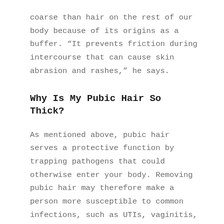coarse than hair on the rest of our body because of its origins as a buffer. “It prevents friction during intercourse that can cause skin abrasion and rashes,” he says.
Why Is My Pubic Hair So Thick?
As mentioned above, pubic hair serves a protective function by trapping pathogens that could otherwise enter your body. Removing pubic hair may therefore make a person more susceptible to common infections, such as UTIs, vaginitis, and yeast infections.
What Are The Disadvantages Of Waxing?